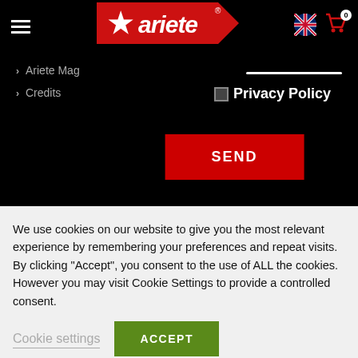[Figure (logo): Ariete brand logo with white star on red chevron background]
> Ariete Mag
> Credits
Privacy Policy
SEND
We use cookies on our website to give you the most relevant experience by remembering your preferences and repeat visits. By clicking “Accept”, you consent to the use of ALL the cookies. However you may visit Cookie Settings to provide a controlled consent.
Cookie settings
ACCEPT
REJECT ALL